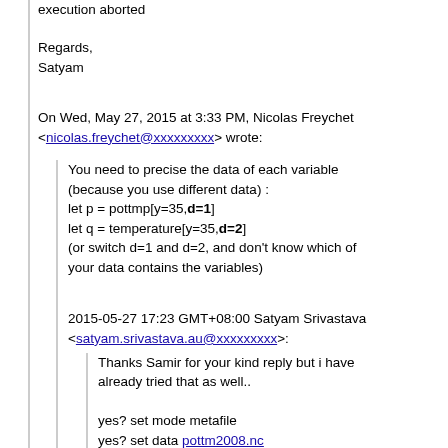execution aborted
Regards,
Satyam
On Wed, May 27, 2015 at 3:33 PM, Nicolas Freychet <nicolas.freychet@xxxxxxxxx> wrote:
You need to precise the data of each variable (because you use different data) :
let p = pottmp[y=35,d=1]
let q = temperature[y=35,d=2]
(or switch d=1 and d=2, and don't know which of your data contains the variables)
2015-05-27 17:23 GMT+08:00 Satyam Srivastava <satyam.srivastava.au@xxxxxxxxx>:
Thanks Samir for your kind reply but i have already tried that as well..

yes? set mode metafile
yes? set data pottm2008.nc
yes? set data pottmp.2008.nc
yes? let p = pottmp[y=35]
yes? let q = temperature[y=35]